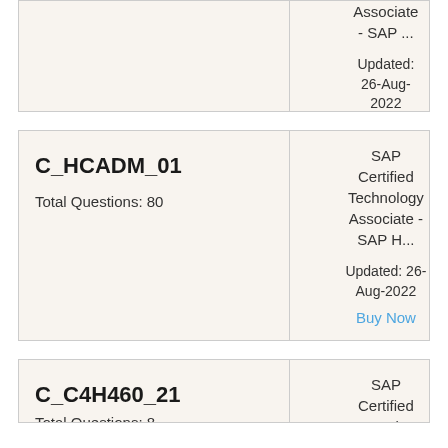| Code | Details |
| --- | --- |
| (partial top) | Associate - SAP ...
Updated: 26-Aug-2022
Buy Now |
| C_HCADM_01
Total Questions: 80 | SAP Certified Technology Associate - SAP H...
Updated: 26-Aug-2022
Buy Now |
| C_C4H460_21
Total Questions: 8... | SAP Certified
Devel... |